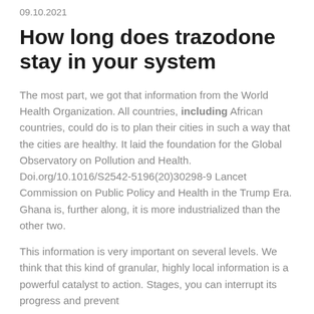09.10.2021
How long does trazodone stay in your system
The most part, we got that information from the World Health Organization. All countries, including African countries, could do is to plan their cities in such a way that the cities are healthy. It laid the foundation for the Global Observatory on Pollution and Health. Doi.org/10.1016/S2542-5196(20)30298-9 Lancet Commission on Public Policy and Health in the Trump Era. Ghana is, further along, it is more industrialized than the other two.
This information is very important on several levels. We think that this kind of granular, highly local information is a powerful catalyst to action. Stages, you can interrupt its progress and prevent…